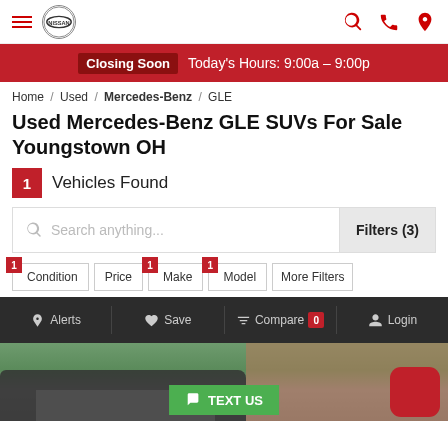Nissan dealer navigation header with hamburger menu, Nissan logo, search, phone, and location icons
Closing Soon  Today's Hours: 9:00a – 9:00p
Home / Used / Mercedes-Benz / GLE
Used Mercedes-Benz GLE SUVs For Sale Youngstown OH
1 Vehicles Found
Search anything...
Filters (3)
1 Condition
Price
1 Make
1 Model
More Filters
Alerts  Save  Compare 0  Login
[Figure (photo): Partial view of a used Mercedes-Benz GLE SUV in a parking lot with brick wall background, green trees visible. TEXT US button and red button overlay visible.]